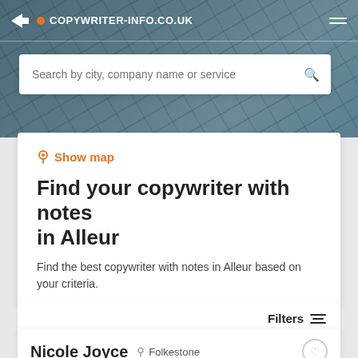COPYWRITER-INFO.CO.UK
[Figure (screenshot): Search bar with placeholder text: Search by city, company name or service]
Show map
Find your copywriter with notes in Alleur
Find the best copywriter with notes in Alleur based on your criteria.
Filters
Nicole Joyce   Folkestone